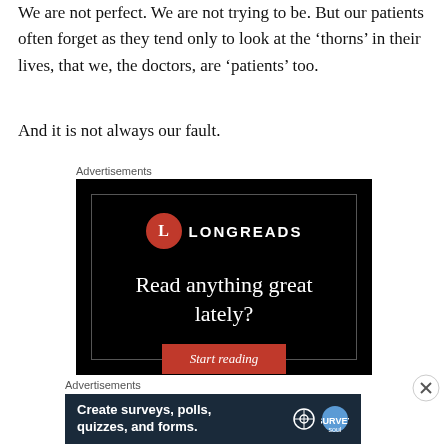We are not perfect. We are not trying to be. But our patients often forget as they tend only to look at the ‘thorns’ in their lives, that we, the doctors, are ‘patients’ too.
And it is not always our fault.
Advertisements
[Figure (illustration): Longreads advertisement: black background with Longreads logo (red circle with L), text 'Read anything great lately?' and a red 'Start reading' button.]
Advertisements
[Figure (illustration): Dark blue advertisement banner: 'Create surveys, polls, quizzes, and forms.' with WordPress logo and a circular Survey Soul icon.]